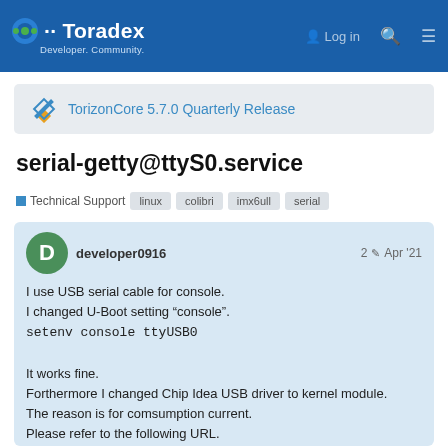Toradex Developer. Community.
TorizonCore 5.7.0 Quarterly Release
serial-getty@ttyS0.service
Technical Support  linux  colibri  imx6ull  serial
developer0916  2  Apr '21

I use USB serial cable for console.
I changed U-Boot setting "console".
setenv console ttyUSB0

It works fine.
Forthermore I changed Chip Idea USB driver to kernel module.
The reason is for comsumption current.
Please refer to the following URL.
https://www.toradex.com/community/questions/62190/usb-